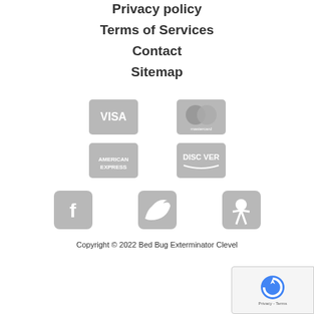Privacy policy
Terms of Services
Contact
Sitemap
[Figure (logo): VISA payment card icon (gray)]
[Figure (logo): Mastercard payment card icon (gray)]
[Figure (logo): American Express payment card icon (gray)]
[Figure (logo): Discover payment card icon (gray)]
[Figure (logo): Facebook social media icon (gray)]
[Figure (logo): Twitter social media icon (gray)]
[Figure (logo): Yelp social media icon (gray)]
Copyright © 2022 Bed Bug Exterminator Clevel